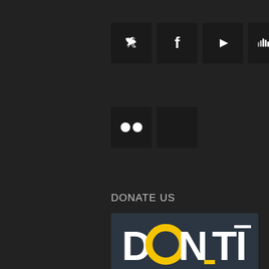[Figure (infographic): Row of four dark square social media icon buttons: Twitter bird, Facebook f, YouTube play button, SoundCloud wave icon]
[Figure (infographic): Row of two dark square icon buttons: Flickr dots icon, empty/blank dark square]
DONATE US
[Figure (logo): Donation banner with dark teal background showing 'DONATI' text in large bold white letters with yellow circle O and yellow underscores and accent marks below]